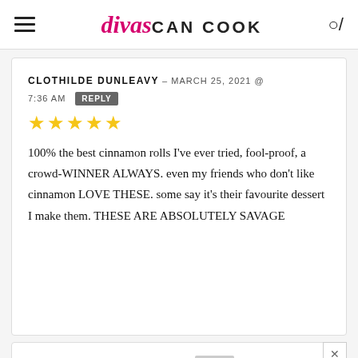divas CAN COOK
CLOTHILDE DUNLEAVY – MARCH 25, 2021 @ 7:36 AM REPLY
★★★★★
100% the best cinnamon rolls I've ever tried, fool-proof, a crowd-WINNER ALWAYS. even my friends who don't like cinnamon LOVE THESE. some say it's their favourite dessert I make them. THESE ARE ABSOLUTELY SAVAGE
RAE – MARCH 13, 2021 @ 5:45 PM REPLY